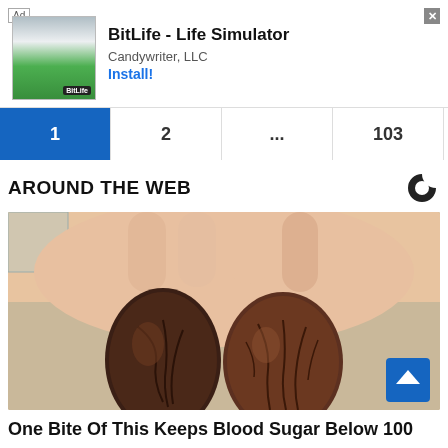[Figure (screenshot): Advertisement banner for BitLife - Life Simulator by Candywriter, LLC with Install button and close X button]
1  2  ...  103  "
AROUND THE WEB
[Figure (photo): Close-up photo of two medjool dates resting in a person's open hand]
One Bite Of This Keeps Blood Sugar Below 100